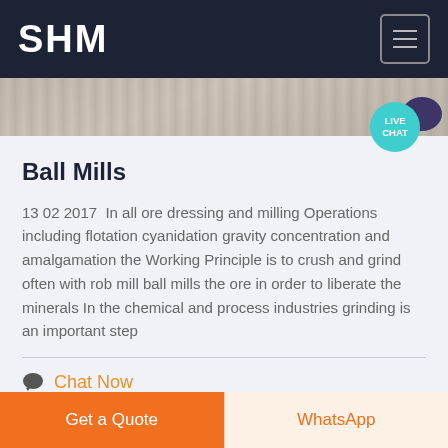SHM
[Figure (screenshot): Partial photograph of a milling/industrial surface, shown as a narrow horizontal strip]
Ball Mills
13 02 2017  In all ore dressing and milling Operations including flotation cyanidation gravity concentration and amalgamation the Working Principle is to crush and grind often with rob mill ball mills the ore in order to liberate the minerals In the chemical and process industries grinding is an important step
Chat Now